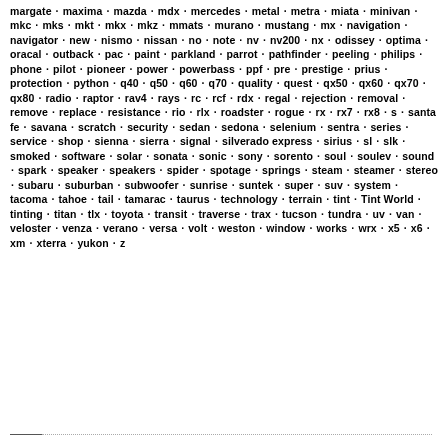margate · maxima · mazda · mdx · mercedes · metal · metra · miata · minivan · mkc · mks · mkt · mkx · mkz · mmats · murano · mustang · mx · navigation · navigator · new · nismo · nissan · no · note · nv · nv200 · nx · odissey · optima · oracal · outback · pac · paint · parkland · parrot · pathfinder · peeling · philips · phone · pilot · pioneer · power · powerbass · ppf · pre · prestige · prius · protection · python · q40 · q50 · q60 · q70 · quality · quest · qx50 · qx60 · qx70 · qx80 · radio · raptor · rav4 · rays · rc · rcf · rdx · regal · rejection · removal · remove · replace · resistance · rio · rlx · roadster · rogue · rx · rx7 · rx8 · s · santa fe · savana · scratch · security · sedan · sedona · selenium · sentra · series · service · shop · sienna · sierra · signal · silverado express · sirius · sl · slk · smoked · software · solar · sonata · sonic · sony · sorento · soul · soulev · sound · spark · speaker · speakers · spider · spotage · springs · steam · steamer · stereo · subaru · suburban · subwoofer · sunrise · suntek · super · suv · system · tacoma · tahoe · tail · tamarac · taurus · technology · terrain · tint · Tint World · tinting · titan · tlx · toyota · transit · traverse · trax · tucson · tundra · uv · van · veloster · venza · verano · versa · volt · weston · window · works · wrx · x5 · x6 · xm · xterra · yukon · z
___.............................................................................